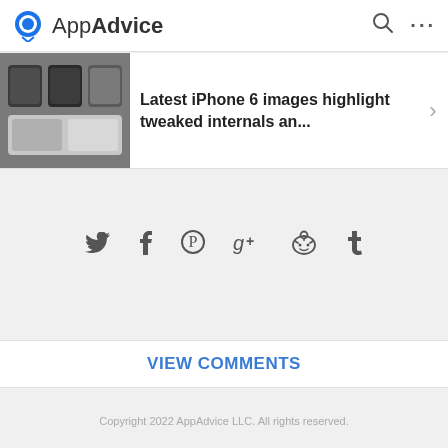AppAdvice
[Figure (screenshot): Article preview card with thumbnail image of iPhone SIM trays and headline text]
Latest iPhone 6 images highlight tweaked internals an...
[Figure (infographic): Social sharing icons row: Twitter (bird), Facebook (f), Pinterest (P), Google+ (g+), Reddit (alien), Tumblr (t)]
VIEW COMMENTS
Copyright 2022 AppAdvice LLC. All rights reserved.